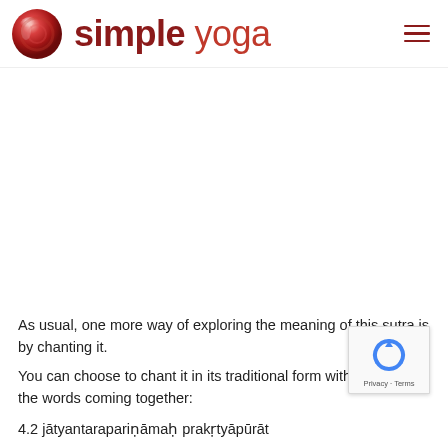simple yoga — navigation header with logo
As usual, one more way of exploring the meaning of this sutra is by chanting it.
You can choose to chant it in its traditional form with some of the words coming together:
4.2 jātyantarapariṇāmaḥ prakṛtyāpūrāt